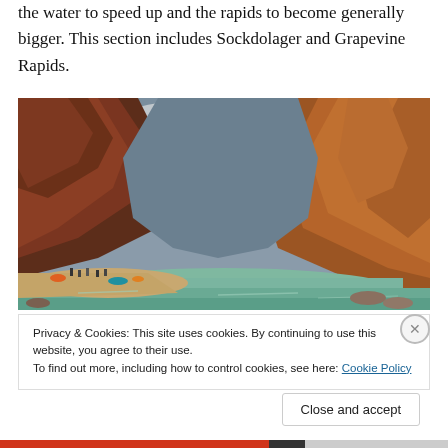the water to speed up and the rapids to become generally bigger. This section includes Sockdolager and Grapevine Rapids.
[Figure (photo): A canyon river scene with towering red and orange rock walls on both sides, cloudy sky above, turquoise-green river water in the foreground, and a sandy beach with camping gear and people on the left shore.]
Privacy & Cookies: This site uses cookies. By continuing to use this website, you agree to their use.
To find out more, including how to control cookies, see here: Cookie Policy
Close and accept